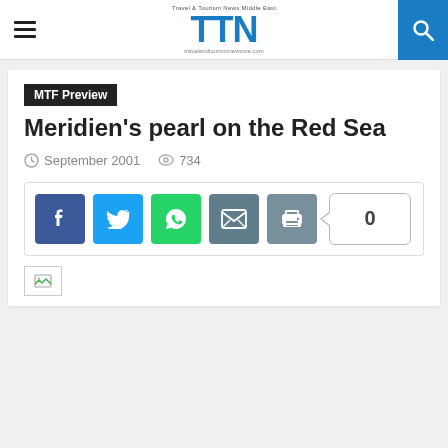TTN - Travel & Tourism News Middle East
MTF Preview
Meridien's pearl on the Red Sea
September 2001  734 views
[Figure (screenshot): Social share buttons: Facebook, Twitter, WhatsApp, Email, Print, and a count badge showing 0]
[Figure (photo): Broken/loading image placeholder]